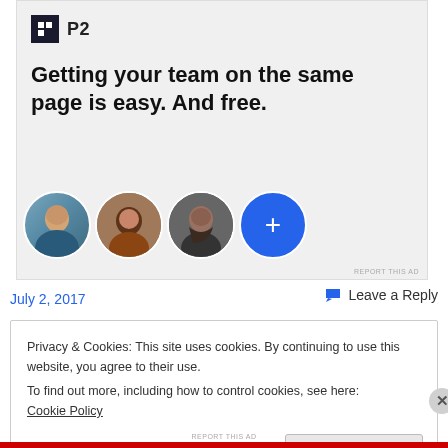[Figure (screenshot): P2 advertisement banner with logo, headline 'Getting your team on the same page is easy. And free.' and three user avatars plus a blue plus button]
July 2, 2017
Leave a Reply
Privacy & Cookies: This site uses cookies. By continuing to use this website, you agree to their use.
To find out more, including how to control cookies, see here: Cookie Policy
Close and accept